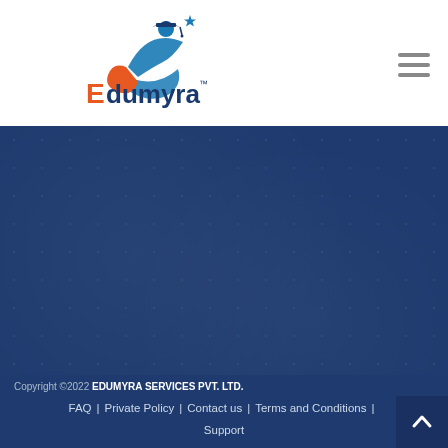[Figure (logo): Edumyra logo: stylized figure with graduation cap and hand with star, above text 'Edumyra' with TM mark. Blue and orange colors.]
[Figure (other): Dark navy blue section with subtle grid/dot pattern overlay]
Copyright ©2022 EDUMYRA SERVICES PVT. LTD.
FAQ | Private Policy | Contact us | Terms and Conditions | Support